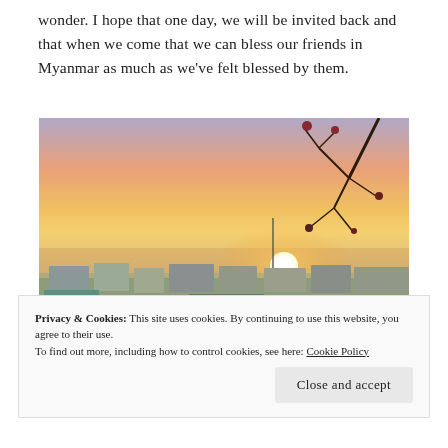wonder. I hope that one day, we will be invited back and that when we come that we can bless our friends in Myanmar as much as we've felt blessed by them.
[Figure (photo): Sunset panoramic view over a city in Myanmar, with colorful buildings in the foreground, a glowing orange and yellow sky, and bare tree branches visible in the upper right corner.]
Privacy & Cookies: This site uses cookies. By continuing to use this website, you agree to their use. To find out more, including how to control cookies, see here: Cookie Policy